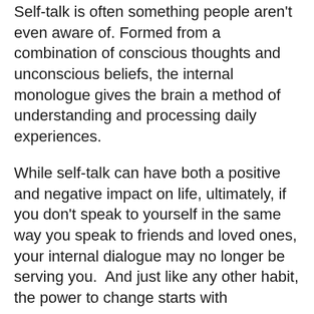Self-talk is often something people aren't even aware of. Formed from a combination of conscious thoughts and unconscious beliefs, the internal monologue gives the brain a method of understanding and processing daily experiences.
While self-talk can have both a positive and negative impact on life, ultimately, if you don't speak to yourself in the same way you speak to friends and loved ones, your internal dialogue may no longer be serving you.  And just like any other habit, the power to change starts with awareness.
Here are some classic examples of negative self-talk and how you can reword them to live the life you're truly destined for.
I'm too busy